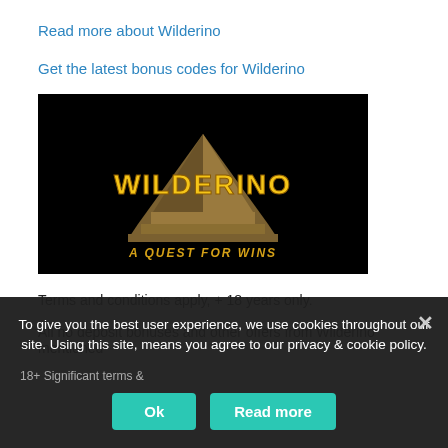Read more about Wilderino
Get the latest bonus codes for Wilderino
[Figure (logo): Wilderino casino logo on black background: stylized golden text 'WILDERINO' with Aztec pyramid and tagline 'A QUEST FOR WINS']
Terms and conditions apply, + 18 years only.
All no deposit bonuses and other offers from Wilderino mentioned
To give you the best user experience, we use cookies throughout our site. Using this site, means you agree to our privacy & cookie policy.
18+ Significant terms &
Ok
Read more